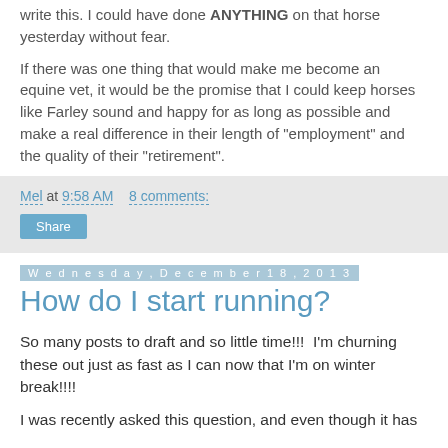write this. I could have done ANYTHING on that horse yesterday without fear.
If there was one thing that would make me become an equine vet, it would be the promise that I could keep horses like Farley sound and happy for as long as possible and make a real difference in their length of "employment" and the quality of their "retirement".
Mel at 9:58 AM    8 comments:
Share
Wednesday, December 18, 2013
How do I start running?
So many posts to draft and so little time!!!  I'm churning these out just as fast as I can now that I'm on winter break!!!!
I was recently asked this question, and even though it has